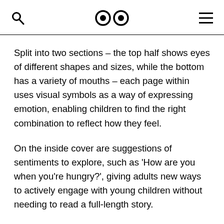[search icon] [eyes logo] [hamburger menu]
Split into two sections – the top half shows eyes of different shapes and sizes, while the bottom has a variety of mouths – each page within uses visual symbols as a way of expressing emotion, enabling children to find the right combination to reflect how they feel.
On the inside cover are suggestions of sentiments to explore, such as 'How are you when you're hungry?', giving adults new ways to actively engage with young children without needing to read a full-length story.